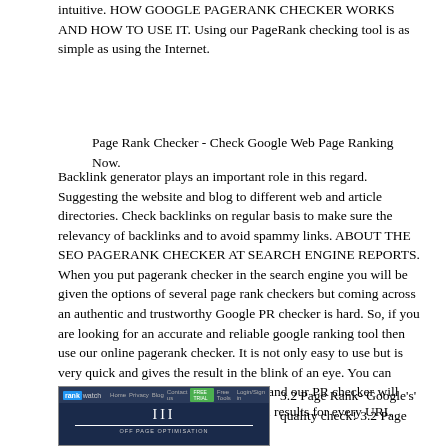intuitive. HOW GOOGLE PAGERANK CHECKER WORKS AND HOW TO USE IT. Using our PageRank checking tool is as simple as using the Internet.
Page Rank Checker - Check Google Web Page Ranking Now.
Backlink generator plays an important role in this regard. Suggesting the website and blog to different web and article directories. Check backlinks on regular basis to make sure the relevancy of backlinks and to avoid spammy links. ABOUT THE SEO PAGERANK CHECKER AT SEARCH ENGINE REPORTS. When you put pagerank checker in the search engine you will be given the options of several page rank checkers but coming across an authentic and trustworthy Google PR checker is hard. So, if you are looking for an accurate and reliable google ranking tool then use our online pagerank checker. It is not only easy to use but is very quick and gives the result in the blink of an eye. You can paste multiple URLs at the same time, and our PR checker will provide you with instant and individual results for every URL provided.
[Figure (screenshot): Screenshot of RankWatch website showing 'OFF PAGE OPTIMISATION' with roman numeral III]
3.2 Page Rank- Google's' quality check! 3.2 Page